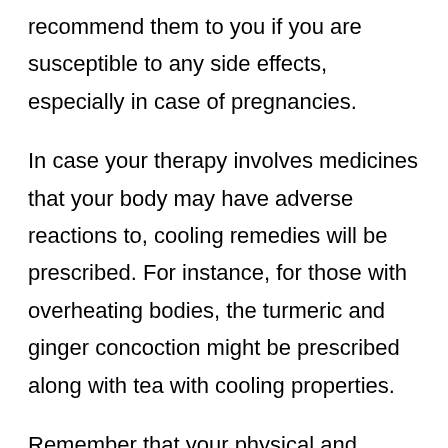recommend them to you if you are susceptible to any side effects, especially in case of pregnancies.
In case your therapy involves medicines that your body may have adverse reactions to, cooling remedies will be prescribed. For instance, for those with overheating bodies, the turmeric and ginger concoction might be prescribed along with tea with cooling properties.
Remember that your physical and psychological profile is the foundation on which the remedies